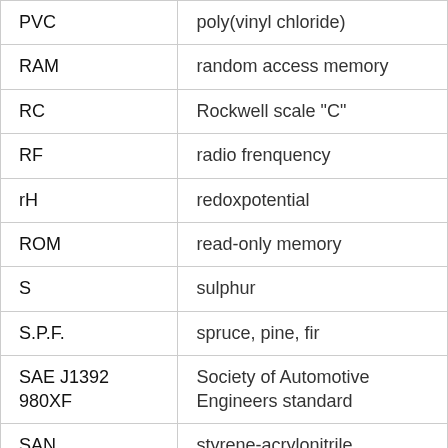| Abbreviation | Definition |
| --- | --- |
| PVC | poly(vinyl chloride) |
| RAM | random access memory |
| RC | Rockwell scale "C" |
| RF | radio frenquency |
| rH | redoxpotential |
| ROM | read-only memory |
| S | sulphur |
| S.P.F. | spruce, pine, fir |
| SAE J1392 980XF | Society of Automotive Engineers standard |
| SAN | styrene-acrylonitrile |